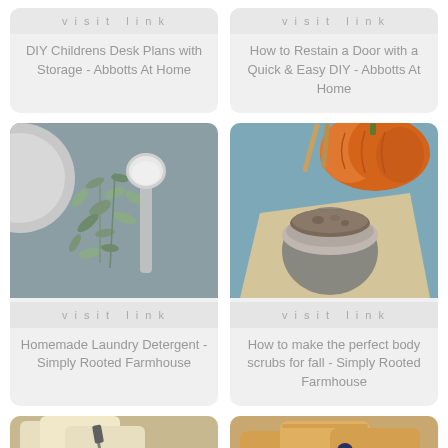[Figure (illustration): Visit link button area for DIY Childrens Desk Plans card (top cropped)]
DIY Childrens Desk Plans with Storage - Abbotts At Home
[Figure (illustration): Visit link button area for How to Restain a Door card (top cropped)]
How to Restain a Door with a Quick & Easy DIY - Abbotts At Home
[Figure (photo): Overhead photo of herbs, leaves, a measuring spoon with white powder, and a bowl on a blue-grey surface]
Homemade Laundry Detergent - Simply Rooted Farmhouse
[Figure (photo): Overhead photo of a pumpkin, a jar of brown body scrub on a burlap cloth on a blue surface]
How to make the perfect body scrubs for fall - Simply Rooted Farmhouse
[Figure (photo): Photo of soap bars stamped with text, partially visible at bottom]
[Figure (photo): Photo of baked goods with blueberries, partially visible at bottom]